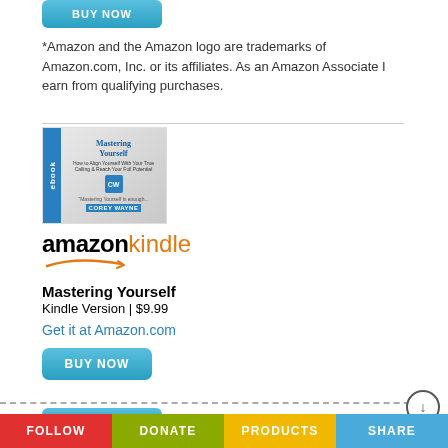[Figure (other): BUY NOW button (top, partially cut off)]
*Amazon and the Amazon logo are trademarks of Amazon.com, Inc. or its affiliates. As an Amazon Associate I earn from qualifying purchases.
[Figure (illustration): Book cover image for 'Mastering Yourself' by Corey Wayne, shown on a tablet/ebook format with blue ebook label on the left side]
[Figure (logo): Amazon Kindle logo with orange arrow swoosh]
Mastering Yourself
Kindle Version | $9.99
Get it at Amazon.com
[Figure (other): BUY NOW button]
FOLLOW   DONATE   PRODUCTS   SHARE